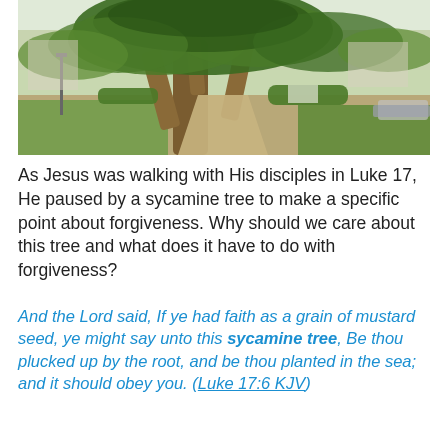[Figure (photo): A large sycamine/fig tree with wide-spreading branches in a park or plaza setting, with green grass, pathways, and buildings in the background under a clear sky.]
As Jesus was walking with His disciples in Luke 17, He paused by a sycamine tree to make a specific point about forgiveness. Why should we care about this tree and what does it have to do with forgiveness?
And the Lord said, If ye had faith as a grain of mustard seed, ye might say unto this sycamine tree, Be thou plucked up by the root, and be thou planted in the sea; and it should obey you. (Luke 17:6 KJV)